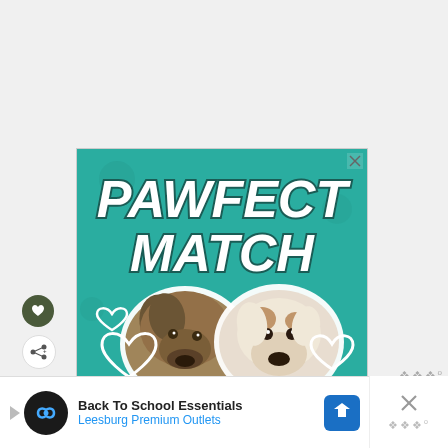[Figure (illustration): Advertisement banner with teal background showing two dog faces (a brindle dog and a white dog with brown spots) and bold white italic text reading 'PAWFECT MATCH' with heart outlines decorating the image. A close X button is in the top right corner.]
[Figure (infographic): Bottom advertisement bar for 'Back To School Essentials - Leesburg Premium Outlets' with a circular dark logo, play button, navigation icon, and a close X button on the right.]
Back To School Essentials
Leesburg Premium Outlets